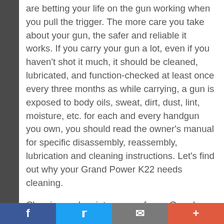are betting your life on the gun working when you pull the trigger. The more care you take about your gun, the safer and reliable it works. If you carry your gun a lot, even if you haven't shot it much, it should be cleaned, lubricated, and function-checked at least once every three months as while carrying, a gun is exposed to body oils, sweat, dirt, dust, lint, moisture, etc. for each and every handgun you own, you should read the owner's manual for specific disassembly, reassembly, lubrication and cleaning instructions. Let's find out why your Grand Power K22 needs cleaning.
Cleaning and maintenance of your Grand Power K22 can be summed up into 3 main reasons:
Facebook | Twitter | Email | +